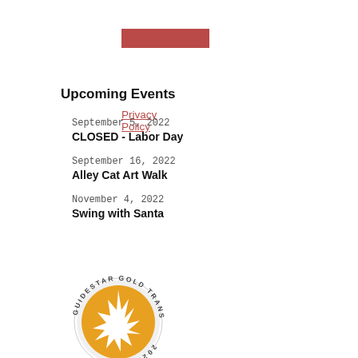[Figure (logo): Red rectangular bar/logo placeholder]
Privacy Policy
Upcoming Events
September 5, 2022
CLOSED - Labor Day
September 16, 2022
Alley Cat Art Walk
November 4, 2022
Swing with Santa
See all Events
[Figure (logo): Guidestar Gold Transparency circular badge with star in center on gold background]